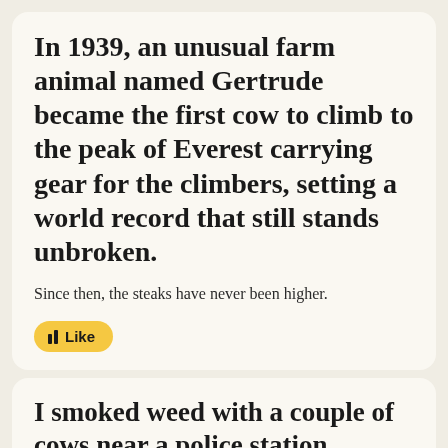In 1939, an unusual farm animal named Gertrude became the first cow to climb to the peak of Everest carrying gear for the climbers, setting a world record that still stands unbroken.
Since then, the steaks have never been higher.
🟨 Like
I smoked weed with a couple of cows near a police station.
The steaks were really high.